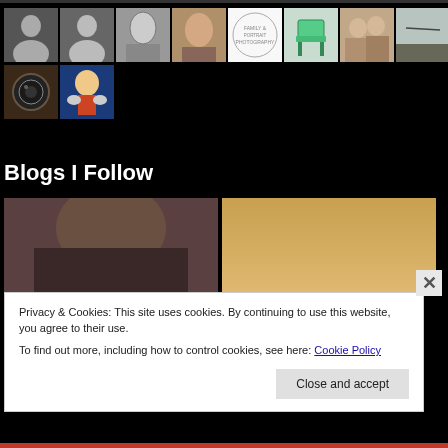[Figure (photo): Grid of avatar/profile images on black background, first row: two grey silhouette placeholders, black-and-white woman photo, color woman photo, logo/illustration, green chair photo, couple photo, sky/bird photo; second row: camera close-up photo, cartoon character illustration]
Blogs I Follow
[Figure (photo): Two blog preview thumbnail photos side by side: left shows a woman's face from above (dark hair), right shows a warm golden-sky landscape]
Privacy & Cookies: This site uses cookies. By continuing to use this website, you agree to their use.
To find out more, including how to control cookies, see here: Cookie Policy
Close and accept